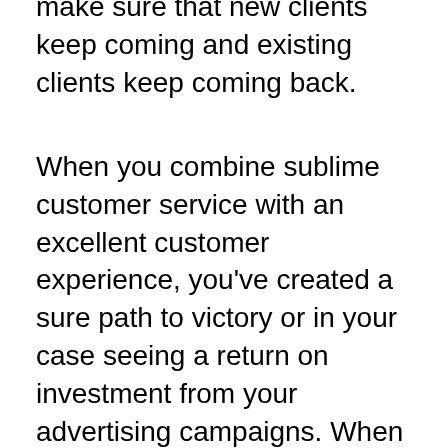make sure that new clients keep coming and existing clients keep coming back.
When you combine sublime customer service with an excellent customer experience, you've created a sure path to victory or in your case seeing a return on investment from your advertising campaigns. When it comes to knowing how to improve ROI in digital marketing, this step adds the cherry on top of all these other steps mentioned above. All you need to do is take a step back and analyze your entire organization to know what step your company or organization missed out on or is falling short of and find a way to make the situation better. It may take some time but the sacrifice would definitely be worth it.